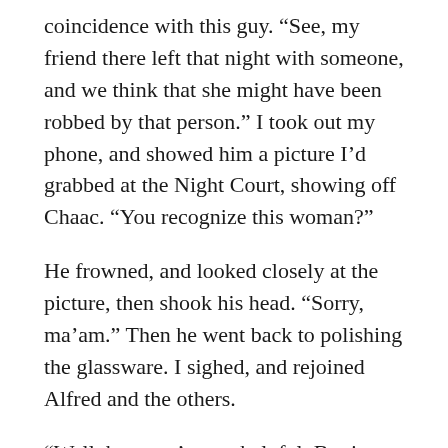coincidence with this guy. “See, my friend there left that night with someone, and we think that she might have been robbed by that person.” I took out my phone, and showed him a picture I’d grabbed at the Night Court, showing off Chaac. “You recognize this woman?”
He frowned, and looked closely at the picture, then shook his head. “Sorry, ma’am.” Then he went back to polishing the glassware. I sighed, and rejoined Alfred and the others.
“Well, he wasn’t very helpful. But it was always going to be a long-shot.” I examined the small vials as Alfred set them down on the table. Each one contained a different amount. Mine was full nearly to the top. I gave Alfred a dirty look. He shrugged his shoulders in a ‘What can I do?’ kind of way, and